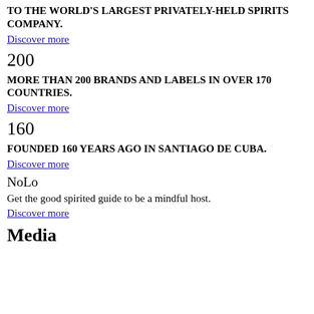TO THE WORLD'S LARGEST PRIVATELY-HELD SPIRITS COMPANY.
Discover more
200
MORE THAN 200 BRANDS AND LABELS IN OVER 170 COUNTRIES.
Discover more
160
FOUNDED 160 YEARS AGO IN SANTIAGO DE CUBA.
Discover more
NoLo
Get the good spirited guide to be a mindful host.
Discover more
Media